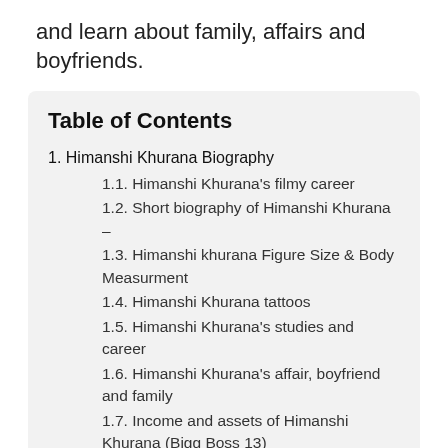and learn about family, affairs and boyfriends.
Table of Contents
1. Himanshi Khurana Biography
1.1. Himanshi Khurana's filmy career
1.2. Short biography of Himanshi Khurana –
1.3. Himanshi khurana Figure Size & Body Measurment
1.4. Himanshi Khurana tattoos
1.5. Himanshi Khurana's studies and career
1.6. Himanshi Khurana's affair, boyfriend and family
1.7. Income and assets of Himanshi Khurana (Bigg Boss 13)
1.8. Himanshi Khurana Bigg Boss News
1.9. Songs Career of himanshi Khurana